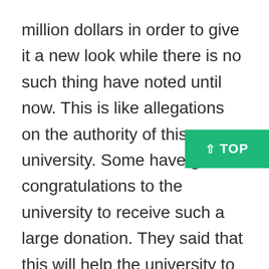million dollars in order to give it a new look while there is no such thing have noted until now. This is like allegations on the authority of this university. Some have given congratulations to the university to receive such a large donation. They said that this will help the university to promote the athleticism in the students of the colleges.

Students will now get involved in this sp when they will see such a beautiful ground with people playing in it. For suggestions, many people suggested that more and more money should be spent on the mental health